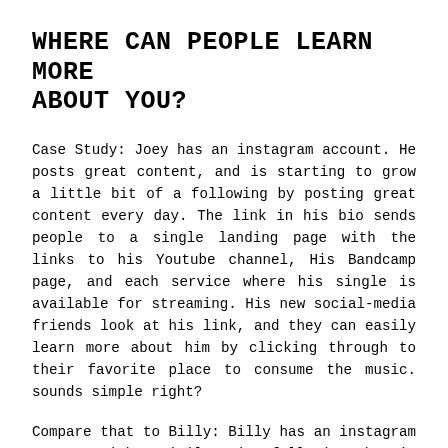WHERE CAN PEOPLE LEARN MORE ABOUT YOU?
Case Study: Joey has an instagram account. He posts great content, and is starting to grow a little bit of a following by posting great content every day. The link in his bio sends people to a single landing page with the links to his Youtube channel, His Bandcamp page, and each service where his single is available for streaming. His new social-media friends look at his link, and they can easily learn more about him by clicking through to their favorite place to consume the music. sounds simple right?
Compare that to Billy: Billy has an instagram account with a similar size following, but it points to his soundcloud page. He's got a youtube channel with no link to where people can learn more. His new fans